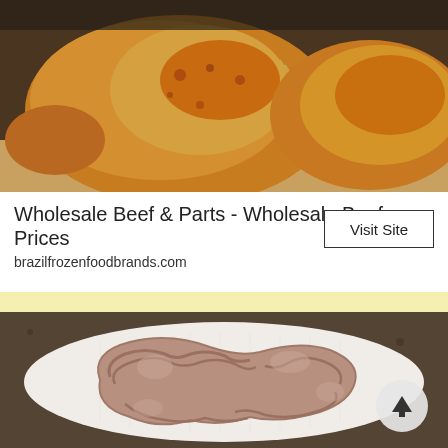[Figure (photo): Close-up photo of golden-brown roasted whole chickens with seasoning and kitchen twine, on a surface, warm tones.]
Wholesale Beef & Parts - Wholesale Beef Prices
brazilfrozenfoodbrands.com
Visit Site
[Figure (photo): Photo of raw pig intestines arranged in a circular/wreath shape on white paper towels on a dark granite counter. A white circular scroll-to-top button with an upward arrow is overlaid in the bottom right.]